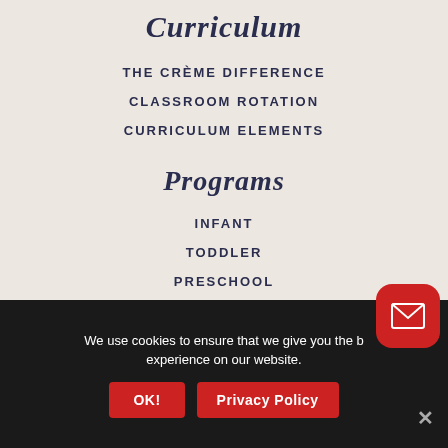Curriculum
THE CRÈME DIFFERENCE
CLASSROOM ROTATION
CURRICULUM ELEMENTS
Programs
INFANT
TODDLER
PRESCHOOL
PRIVATE KINDERGARTEN
BEFORE AND AFTER SCHOOL
We use cookies to ensure that we give you the best experience on our website.
OK!
Privacy Policy